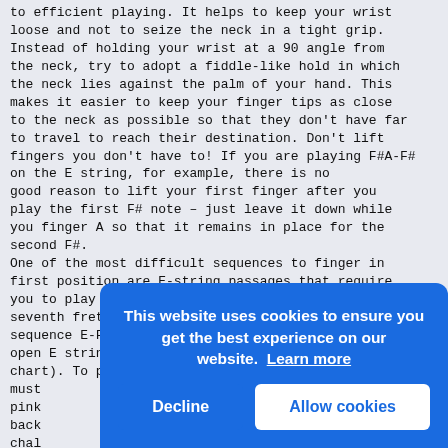to efficient playing. It helps to keep your wrist loose and not to seize the neck in a tight grip. Instead of holding your wrist at a 90 angle from the neck, try to adopt a fiddle-like hold in which the neck lies against the palm of your hand. This makes it easier to keep your finger tips as close to the neck as possible so that they don't have far to travel to reach their destination. Don't lift fingers you don't have to! If you are playing F#A-F# on the E string, for example, there is no good reason to lift your first finger after you play the first F# note – just leave it down while you finger A so that it remains in place for the second F#.
One of the most difficult sequences to finger in first position are E-string passages that require you to play F# at the second fret and B at the seventh fret. A typical example would be the sequence E-F#-G-B-A-F#-G, starting with the open E string (see the attached banjo neck chart). To play this passage, your first finger must... pink... back... chal... prob... trip... howe... are ... Your... from... are ...
by touching it with the side of a finger. The
[Figure (screenshot): Cookie consent overlay with blue background. Text: 'This website uses cookies to ensure you get the best experience on our website. Learn more'. Two buttons: 'Decline' (left, white text on blue) and 'Allow cookies' (right, blue text on white).]